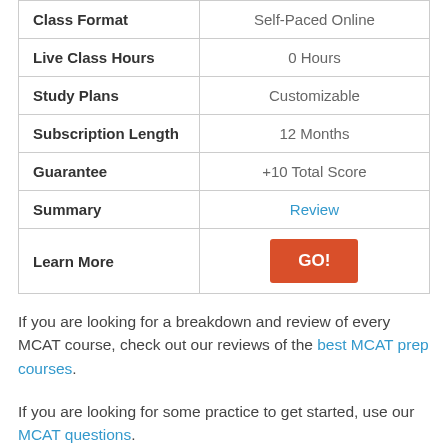|  |  |
| --- | --- |
| Class Format | Self-Paced Online |
| Live Class Hours | 0 Hours |
| Study Plans | Customizable |
| Subscription Length | 12 Months |
| Guarantee | +10 Total Score |
| Summary | Review |
| Learn More | GO! |
If you are looking for a breakdown and review of every MCAT course, check out our reviews of the best MCAT prep courses.
If you are looking for some practice to get started, use our MCAT questions.